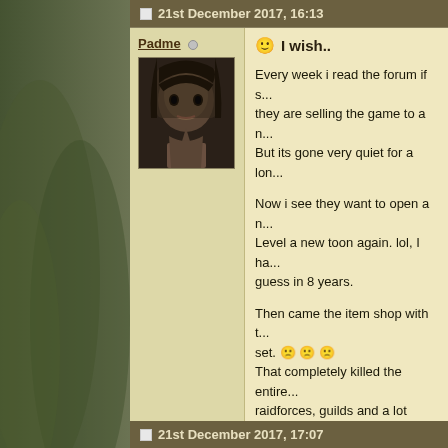21st December 2017, 16:13
Padme
[Figure (photo): Avatar image of a dark-featured fantasy character with black hair and pale/dark skin]
I wish..
Every week i read the forum if s... they are selling the game to a n... But its gone very quiet for a lon...
Now i see they want to open a n... Level a new toon again. lol, I ha... guess in 8 years.
Then came the item shop with t... set. That completely killed the entire... raidforces, guilds and a lot frien...
If they want to make something... miracles to bring back some of... Every time i wish.. but in the in...
I hope i am wrong
21st December 2017, 17:07